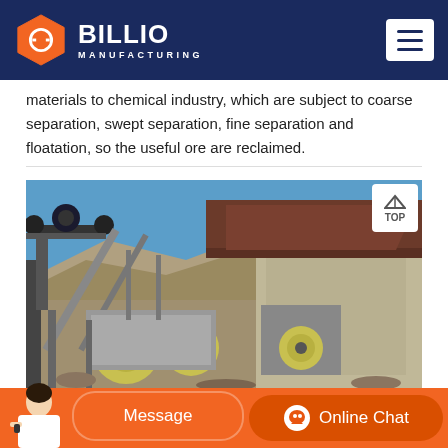BILLIO MANUFACTURING
materials to chemical industry, which are subject to coarse separation, swept separation, fine separation and floatation, so the useful ore are reclaimed.
[Figure (photo): Outdoor mining/crushing equipment facility showing jaw crushers, conveyor belts, and industrial machinery against a rocky hillside backdrop with blue sky]
Message | Online Chat